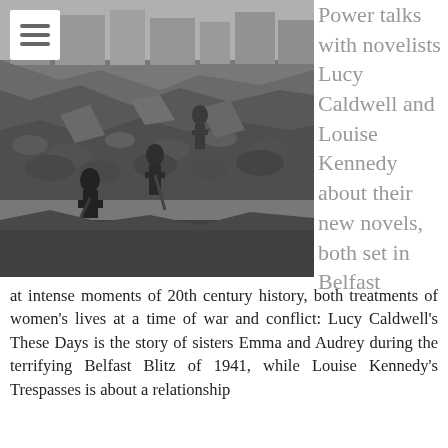[Figure (photo): Black and white photograph of workers clearing rubble and debris from bombed buildings, likely during or after the Belfast Blitz of WWII. Several figures are visible amid large piles of stone and broken masonry.]
Power talks with novelists Lucy Caldwell and Louise Kennedy about their new novels, both set in Belfast at intense moments of 20th century history, both treatments of women's lives at a time of war and conflict: Lucy Caldwell's These Days is the story of sisters Emma and Audrey during the terrifying Belfast Blitz of 1941, while Louise Kennedy's Trespasses is about a relationship